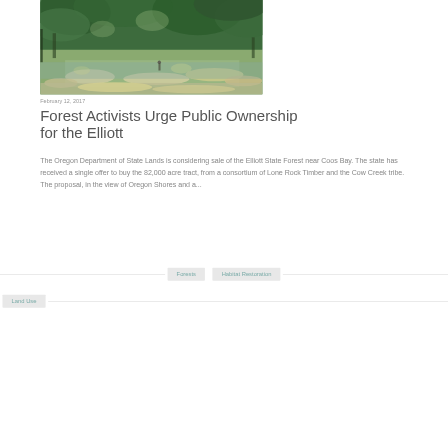[Figure (photo): A forest stream scene with shallow, rocky water, large flat stones, and lush green tree canopy overhead. A person is visible in the background walking along the stream.]
February 12, 2017
Forest Activists Urge Public Ownership for the Elliott
The Oregon Department of State Lands is considering sale of the Elliott State Forest near Coos Bay. The state has received a single offer to buy the 82,000 acre tract, from a consortium of Lone Rock Timber and the Cow Creek tribe. The proposal, in the view of Oregon Shores and a...
Forests
Habitat Restoration
Land Use